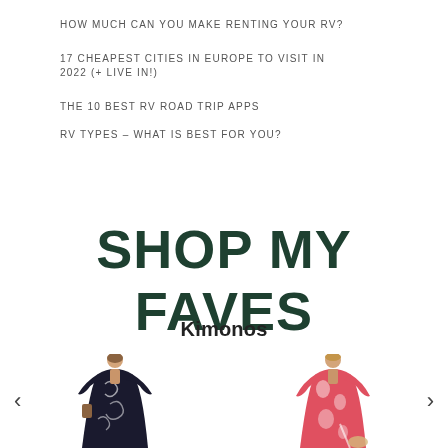HOW MUCH CAN YOU MAKE RENTING YOUR RV?
17 CHEAPEST CITIES IN EUROPE TO VISIT IN 2022 (+ LIVE IN!)
THE 10 BEST RV ROAD TRIP APPS
RV TYPES – WHAT IS BEST FOR YOU?
SHOP MY FAVES
Kimonos
[Figure (photo): Two women modeling kimonos in a carousel product display. Left figure wears a dark navy/black swirl-patterned long kimono. Right figure wears a red and white tie-dye style long kimono. Navigation arrows on each side.]